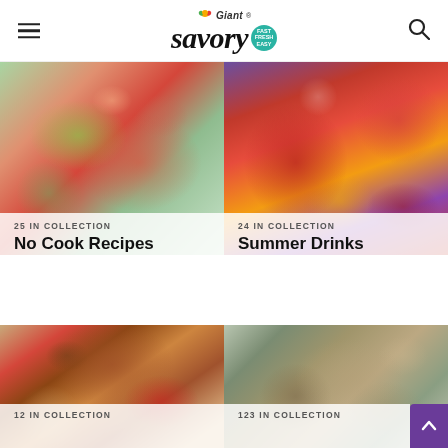Giant Savory — Fast Fresh Easy
[Figure (photo): Food photo: watermelon and avocado salad in a blue bowl]
25 IN COLLECTION
No Cook Recipes
[Figure (photo): Food photo: red summer drinks with citrus slices and ice, American flag in background]
24 IN COLLECTION
Summer Drinks
[Figure (photo): Food photo: burger with tomato, lettuce, and sauce on a sesame bun]
12 IN COLLECTION
[Figure (photo): Food photo: mushroom and chicken casserole in a blue dutch oven with wooden spoon]
123 IN COLLECTION